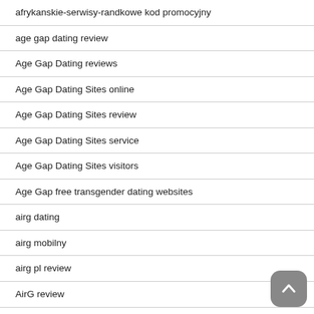afrykanskie-serwisy-randkowe kod promocyjny
age gap dating review
Age Gap Dating reviews
Age Gap Dating Sites online
Age Gap Dating Sites review
Age Gap Dating Sites service
Age Gap Dating Sites visitors
Age Gap free transgender dating websites
airg dating
airg mobilny
airg pl review
AirG review
airg reviews